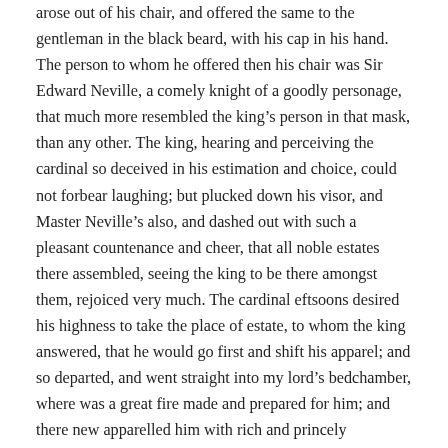arose out of his chair, and offered the same to the gentleman in the black beard, with his cap in his hand. The person to whom he offered then his chair was Sir Edward Neville, a comely knight of a goodly personage, that much more resembled the king's person in that mask, than any other. The king, hearing and perceiving the cardinal so deceived in his estimation and choice, could not forbear laughing; but plucked down his visor, and Master Neville's also, and dashed out with such a pleasant countenance and cheer, that all noble estates there assembled, seeing the king to be there amongst them, rejoiced very much. The cardinal eftsoons desired his highness to take the place of estate, to whom the king answered, that he would go first and shift his apparel; and so departed, and went straight into my lord's bedchamber, where was a great fire made and prepared for him; and there new apparelled him with rich and princely garments. And in the time of the king's absence, the dishes of the banquet were clean taken up, and the tables spread again with new and sweet perfumed cloths; every man sitting still until the king and his maskers came in among them again, every man being newly apparelled. Then the king took his seat under the cloth of estate, commanding no man to remove, but sit still, as they did before. Then in came a new banquet